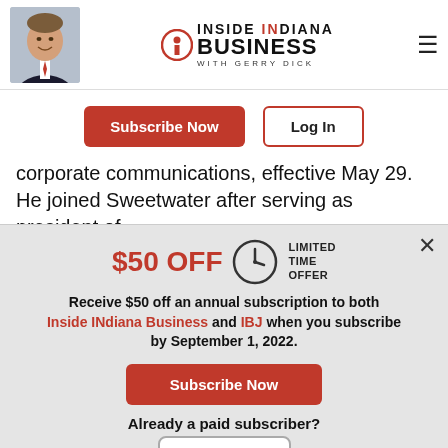[Figure (logo): Inside INdiana Business with Gerry Dick logo with man photo and hamburger menu]
Subscribe Now   Log In
corporate communications, effective May 29. He joined Sweetwater after serving as president of
[Figure (infographic): $50 OFF LIMITED TIME OFFER popup with clock icon, subscription offer text, Subscribe Now button, Already a paid subscriber? Log In button]